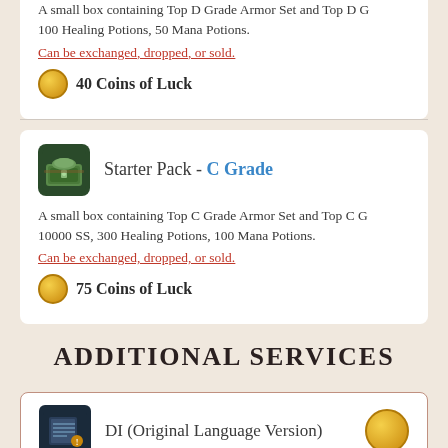A small box containing Top D Grade Armor Set and Top D G... 100 Healing Potions, 50 Mana Potions.
Can be exchanged, dropped, or sold.
40 Coins of Luck
Starter Pack - C Grade
A small box containing Top C Grade Armor Set and Top C G... 10000 SS, 300 Healing Potions, 100 Mana Potions.
Can be exchanged, dropped, or sold.
75 Coins of Luck
ADDITIONAL SERVICES
DI (Original Language Version)